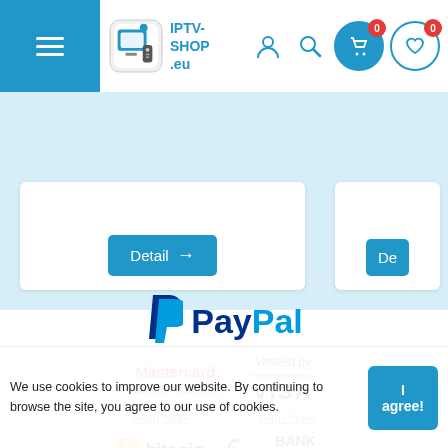IPTV-SHOP.eu — navigation header with menu, logo, user, search, cart (0), wishlist (0)
[Figure (screenshot): Two product cards partially visible with 'Detail →' buttons on a light blue background]
[Figure (logo): PayPal logo with 'P' symbol, 'Pay' in dark blue and 'Pal' in light blue]
[Figure (logo): Mastercard SecureCode logo in red and orange text]
[Figure (logo): Verified by VISA logo with gold stripe]
learn more
learn more
[Figure (logo): Bitcoin logo with orange circle B and 'bitcoin' text]
[Figure (logo): Bank Transfer logo with circular arrows icon]
We use cookies to improve our website. By continuing to browse the site, you agree to our use of cookies.